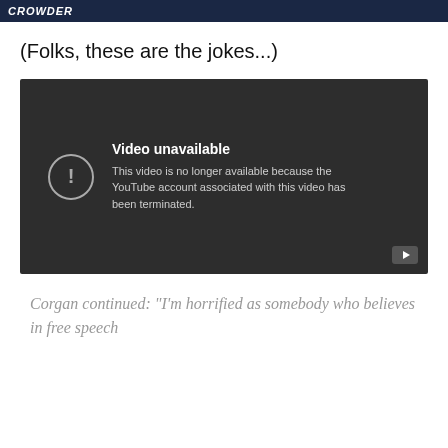CROWDER
(Folks, these are the jokes...)
[Figure (screenshot): YouTube video unavailable error screen with dark background, exclamation mark icon, title 'Video unavailable' and message 'This video is no longer available because the YouTube account associated with this video has been terminated.']
Corgan continued: "I'm horrified as somebody who believes in free speech